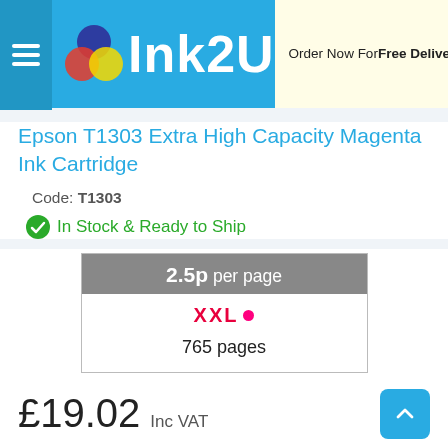Ink2U — Order Now For Free Delivery Saturday, 27th
Epson T1303 Extra High Capacity Magenta Ink Cartridge
Code: T1303
In Stock & Ready to Ship
| 2.5p per page |
| --- |
| XXL | 765 pages |
£19.02  Inc VAT
Fast & Free Delivery